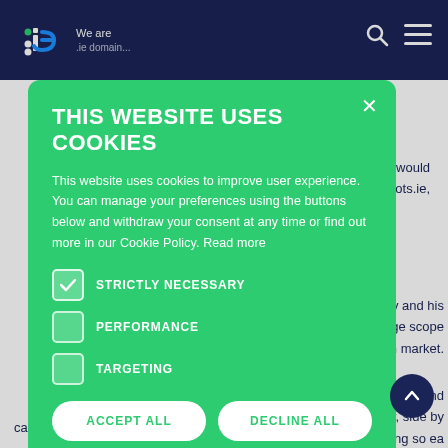We are .ie — navigation header with logo, search and menu icons
players in
domain, we would like ... ients: Cobots.ie,
[Figure (screenshot): Cookie consent modal on green background with title THIS WEBSITE USES COOKIES, body text, checkboxes for Strictly Necessary, Performance, and Targeting, and two buttons: ACCEPT ALL and DECLINE ALL]
n Buckley and his b... was huge scope f... the Irish market.
can do what it does best. Cobots take on the dull, dirty or